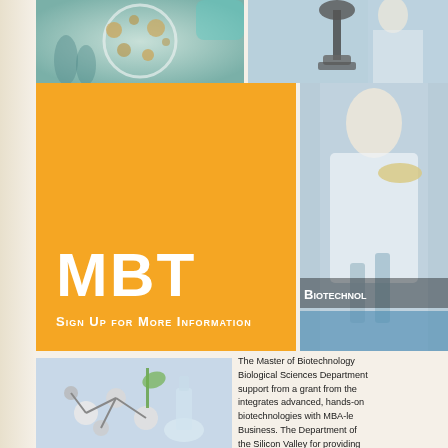[Figure (photo): Close-up of petri dish with bacterial colonies and lab tubes in background, gloved hand visible]
[Figure (photo): Microscope with scientist in white lab coat holding petri dish in background]
[Figure (infographic): Orange box with white text: MBT large heading and 'Sign Up for More Information' subtitle]
[Figure (photo): Scientist in lab coat with microscope and lab equipment, 'Biotechnol' text overlay, blue liquid at bottom]
[Figure (photo): Laboratory glassware with molecular model and green plant sprout]
The Master of Biotechnology Biological Sciences Department support from a grant from the integrates advanced, hands-on biotechnologies with MBA-le Business. The Department of the Silicon Valley for providing and the College of Business